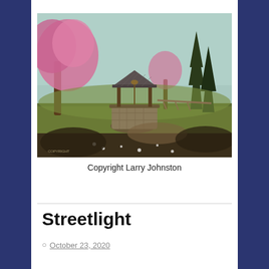[Figure (illustration): A painting of a stone wishing well with a wooden shingled roof in a pastoral landscape. Pink cherry blossom trees are on the left and background, tall dark evergreen trees are on the right. The scene includes green grass, a path, and small white flowers in the foreground. A small signature is visible in the lower left corner.]
Copyright Larry Johnston
Streetlight
October 23, 2020